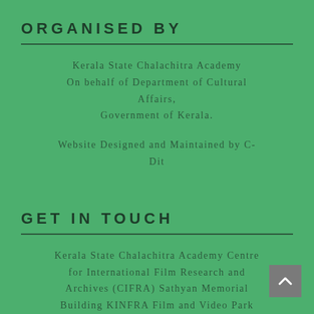ORGANISED BY
Kerala State Chalachitra Academy
On behalf of Department of Cultural Affairs,
Government of Kerala.
Website Designed and Maintained by C-Dit
GET IN TOUCH
Kerala State Chalachitra Academy Centre for International Film Research and Archives (CIFRA) Sathyan Memorial Building KINFRA Film and Video Park Sainik School P.O. Kazhakoottam, Trivandrum-695585 Email: